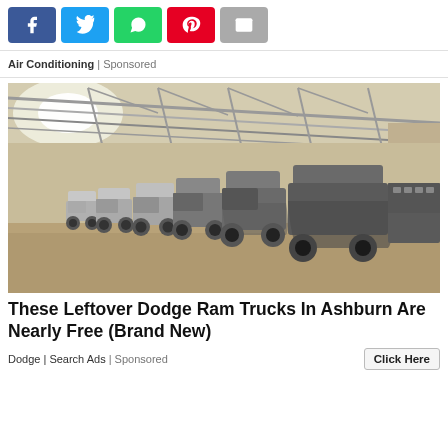[Figure (other): Social share buttons: Facebook (blue), Twitter (light blue), WhatsApp (green), Pinterest (red), Email (gray)]
Air Conditioning | Sponsored
[Figure (photo): A row of covered/dusty pickup trucks stored inside a large warehouse with a metal truss ceiling and dirt floor.]
These Leftover Dodge Ram Trucks In Ashburn Are Nearly Free (Brand New)
Dodge | Search Ads | Sponsored